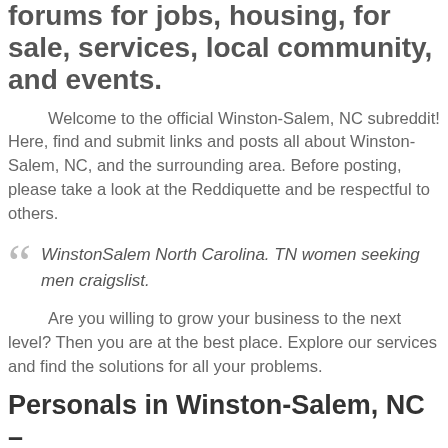forums for jobs, housing, for sale, services, local community, and events.
Welcome to the official Winston-Salem, NC subreddit! Here, find and submit links and posts all about Winston-Salem, NC, and the surrounding area. Before posting, please take a look at the Reddiquette and be respectful to others.
WinstonSalem North Carolina. TN women seeking men craigslist.
Are you willing to grow your business to the next level? Then you are at the best place. Explore our services and find the solutions for all your problems.
Personals in Winston-Salem, NC –